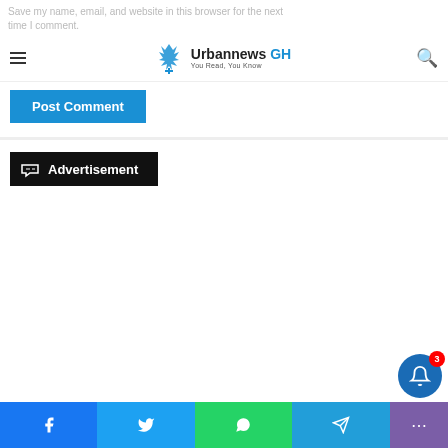Save my name, email, and website in this browser for the next time I comment.
Urbannews GH — You Read, You Know
Post Comment
Advertisement
Facebook | Twitter | WhatsApp | Telegram